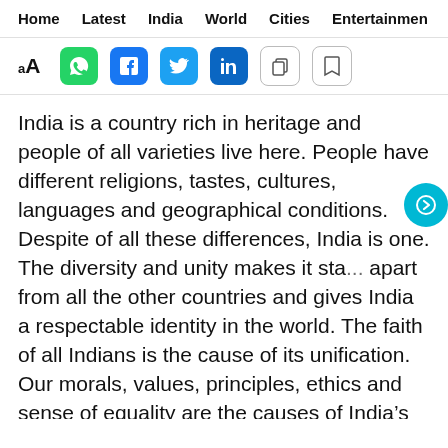Home  Latest  India  World  Cities  Entertainmen
[Figure (screenshot): Toolbar with font size (aA), WhatsApp, Facebook, Twitter, LinkedIn, copy, and bookmark icons]
India is a country rich in heritage and people of all varieties live here. People have different religions, tastes, cultures, languages and geographical conditions. Despite of all these differences, India is one. The diversity and unity makes it sta... apart from all the other countries and gives India a respectable identity in the world. The faith of all Indians is the cause of its unification. Our morals, values, principles, ethics and sense of equality are the causes of India’s unity. Our ancestors passed on the teaching that we all have the same soul. Eve... we have different bodies, race and colour, internally... same. All these teachings form the foundation of our thinking. Every religion teaches t... hat all are equal and one should respect and lo... y. All religious books such as the Geeta, the Bible, the Quran and Guru Granth...